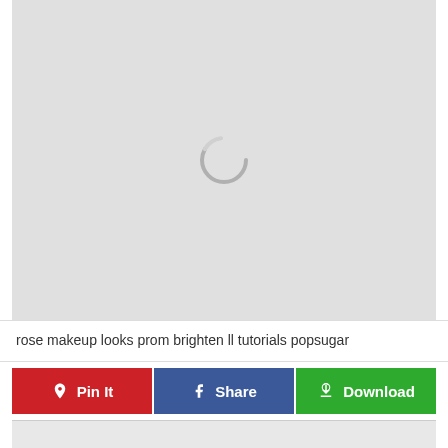[Figure (screenshot): Gray image placeholder area with a spinning/loading circle icon in the upper center portion]
rose makeup looks prom brighten ll tutorials popsugar
Pin It | Share | Download